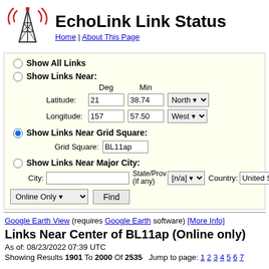EchoLink Link Status
Home | About This Page
Show All Links
Show Links Near:
Latitude: 21 Deg 38.74 Min North
Longitude: 157 Deg 57.50 Min West
Show Links Near Grid Square:
Grid Square: BL11ap
Show Links Near Major City:
City: State/Prov (if any): [n/a] Country: United S
Online Only  Find
Google Earth View (requires Google Earth software) [More Info]
Links Near Center of BL11ap (Online only)
As of: 08/23/2022 07:39 UTC
Showing Results 1901 To 2000 Of 2535   Jump to page: 1 2 3 4 5 6 7